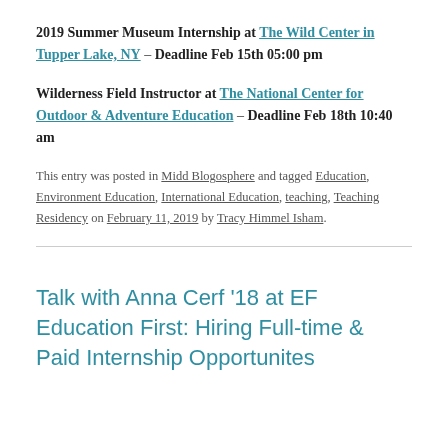2019 Summer Museum Internship at The Wild Center in Tupper Lake, NY – Deadline Feb 15th 05:00 pm
Wilderness Field Instructor at The National Center for Outdoor & Adventure Education – Deadline Feb 18th 10:40 am
This entry was posted in Midd Blogosphere and tagged Education, Environment Education, International Education, teaching, Teaching Residency on February 11, 2019 by Tracy Himmel Isham.
Talk with Anna Cerf '18 at EF Education First: Hiring Full-time & Paid Internship Opportunites